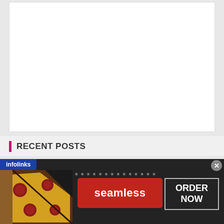[Figure (other): White content box area (blank content placeholder)]
RECENT POSTS
[Figure (infographic): Infolinks advertisement banner featuring Seamless food delivery. Shows pizza image on left, Seamless logo in red in the center, and ORDER NOW button on the right. Dark background.]